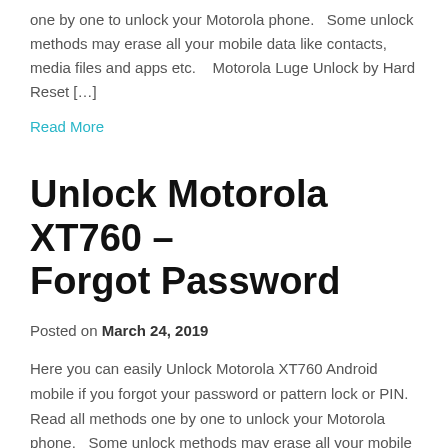one by one to unlock your Motorola phone.   Some unlock methods may erase all your mobile data like contacts, media files and apps etc.    Motorola Luge Unlock by Hard Reset […]
Read More
Unlock Motorola XT760 – Forgot Password
Posted on March 24, 2019
Here you can easily Unlock Motorola XT760 Android mobile if you forgot your password or pattern lock or PIN. Read all methods one by one to unlock your Motorola phone.   Some unlock methods may erase all your mobile data like contacts,